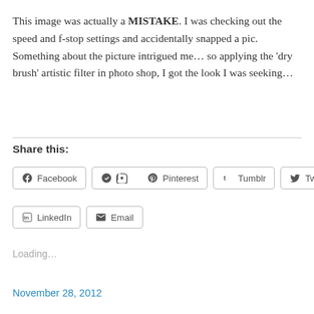This image was actually a MISTAKE. I was checking out the speed and f-stop settings and accidentally snapped a pic. Something about the picture intrigued me… so applying the 'dry brush' artistic filter in photo shop, I got the look I was seeking…
Share this:
Facebook  Pinterest  Tumblr  Twitter  LinkedIn  Email
Loading...
November 28, 2012